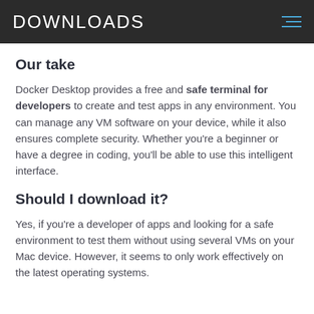DOWNLOADS
Our take
Docker Desktop provides a free and safe terminal for developers to create and test apps in any environment. You can manage any VM software on your device, while it also ensures complete security. Whether you're a beginner or have a degree in coding, you'll be able to use this intelligent interface.
Should I download it?
Yes, if you're a developer of apps and looking for a safe environment to test them without using several VMs on your Mac device. However, it seems to only work effectively on the latest operating systems.